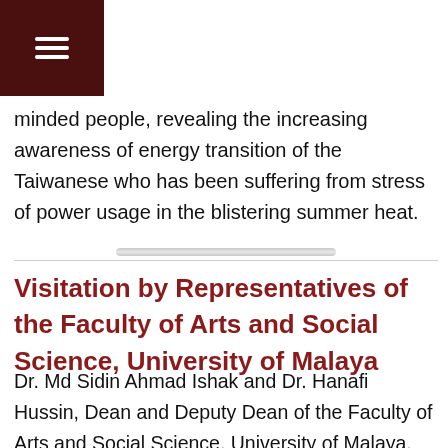minded people, revealing the increasing awareness of energy transition of the Taiwanese who has been suffering from stress of power usage in the blistering summer heat.
Visitation by Representatives of the Faculty of Arts and Social Science, University of Malaya
Dr. Md Sidin Ahmad Ishak and Dr. Hanafi Hussin, Dean and Deputy Dean of the Faculty of Arts and Social Science, University of Malaya, visited the College on 25 May 2016. They were greeted by Dr. Kuo-Hsien Su and Dr. Yu-Tzung Chang, Dean and Associate Dean of the College, as well as Dr. Han-Pu Tung and Dr. Chao-Chen Lin, Director